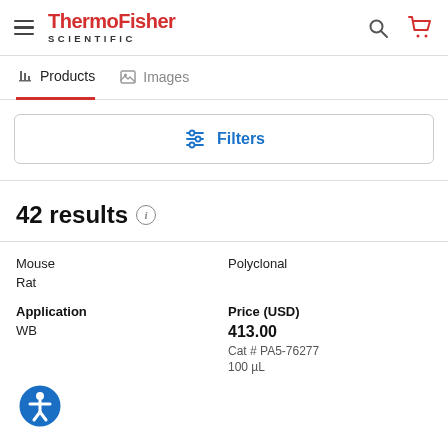ThermoFisher SCIENTIFIC
Products | Images
Filters
42 results
Mouse
Rat
Polyclonal
Application
WB
Price (USD)
413.00
Cat # PA5-76277
100 µL